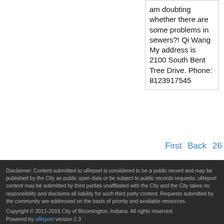am doubting whether there are some problems in sewers?! Qi Wang My address is 2100 South Bent Tree Drive. Phone: 8123917545
First  Back  26
Disclaimer: Content submitted to uReport is considered to be a public record and may be published by the City as public open data or be subject to public records requests. uReport content may be submitted by third parties unaffiliated with the City and the City takes no responsibility and disclaims all liability for such third party content. Requests submitted by the community are addressed on the basis of priority and available resources.
Copyright © 2011-2016 City of Bloomington, Indiana. All rights reserved.
Powered by uReport version 2.3